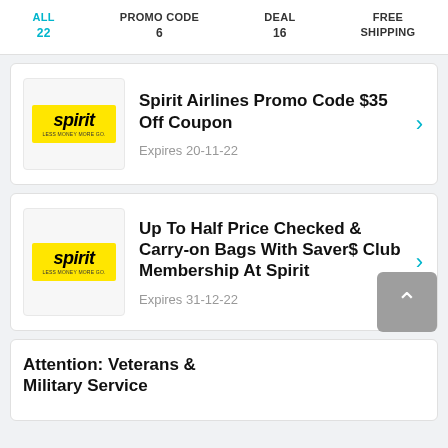ALL 22 | PROMO CODE 6 | DEAL 16 | FREE SHIPPING
Spirit Airlines Promo Code $35 Off Coupon
Expires 20-11-22
Up To Half Price Checked & Carry-on Bags With Saver$ Club Membership At Spirit
Expires 31-12-22
Attention: Veterans & Military Service